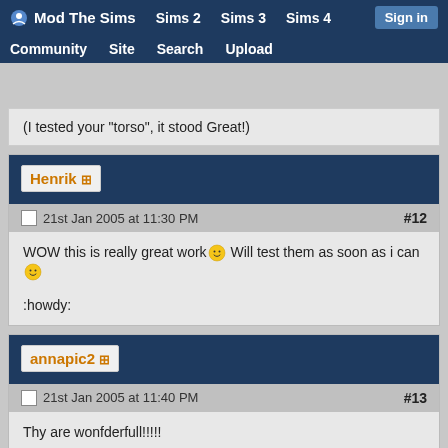Mod The Sims | Sims 2 | Sims 3 | Sims 4 | Sign in | Community | Site | Search | Upload
(I tested your "torso", it stood Great!)
Henrik +
21st Jan 2005 at 11:30 PM  #12
WOW this is really great work :) Will test them as soon as i can :)

:howdy:
annapic2 +
21st Jan 2005 at 11:40 PM  #13
Thy are wonfderfull!!!!!